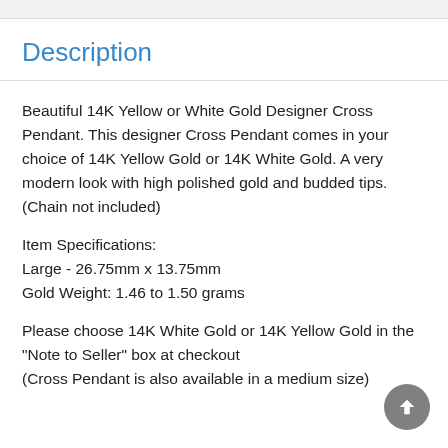Description
Beautiful 14K Yellow or White Gold Designer Cross Pendant. This designer Cross Pendant comes in your choice of 14K Yellow Gold or 14K White Gold. A very modern look with high polished gold and budded tips. (Chain not included)
Item Specifications:
Large - 26.75mm x 13.75mm
Gold Weight: 1.46 to 1.50 grams
Please choose 14K White Gold or 14K Yellow Gold in the "Note to Seller" box at checkout
(Cross Pendant is also available in a medium size)